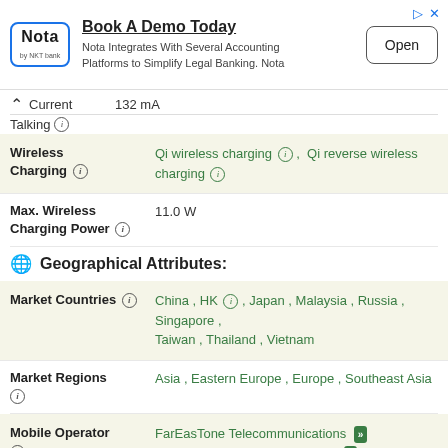[Figure (other): Advertisement banner: Nota logo, 'Book A Demo Today', description text, and Open button]
Current   132 mA
Talking ⓘ
| Attribute | Value |
| --- | --- |
| Wireless Charging ⓘ | Qi wireless charging ⓘ , Qi reverse wireless charging ⓘ |
| Max. Wireless Charging Power ⓘ | 11.0 W |
Geographical Attributes:
| Attribute | Value |
| --- | --- |
| Market Countries ⓘ | China , HK ⓘ , Japan , Malaysia , Russia , Singapore , Taiwan , Thailand , Vietnam |
| Market Regions ⓘ | Asia , Eastern Europe , Europe , Southeast Asia |
| Mobile Operator ⓘ | FarEasTone Telecommunications ›› 
Hong Kong CSL Mobile Limited ›› |
| Price ⓘ | 99990
Russian Ruble ⓘ |